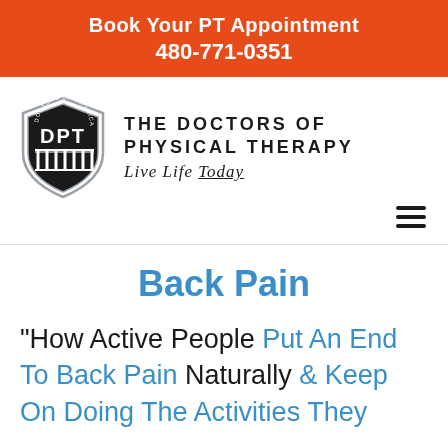Book Your PT Appointment
480-771-0351
[Figure (logo): The Doctors of Physical Therapy logo with DPT shield and tagline 'Live Life Today']
Back Pain
"How Active People Put An End To Back Pain Naturally & Keep On Doing The Activities They